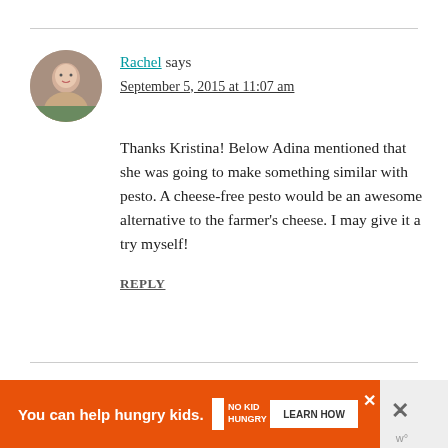[Figure (photo): Avatar photo of Rachel - woman smiling outdoors]
Rachel says
September 5, 2015 at 11:07 am
Thanks Kristina! Below Adina mentioned that she was going to make something similar with pesto. A cheese-free pesto would be an awesome alternative to the farmer's cheese. I may give it a try myself!
REPLY
Lisa says
[Figure (infographic): Orange advertisement banner: You can help hungry kids. No Kid Hungry logo. LEARN HOW button. Close X button.]